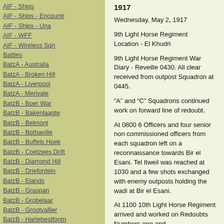AIF - Ships
AIF - Ships - Encountr
AIF - Ships - Una
AIF - WFF
AIF - Wireless Sqn
Battles
BatzA - Australia
BatzA - Broken Hill
BatzA - Liverpool
BatzA - Merivale
BatzB - Boer War
BatzB - Bakenlaagte
BatzB - Belmont
BatzB - Bothaville
BatzB - Buffels Hoek
BatzB - Coetzees Drift
BatzB - Diamond Hill
BatzB - Driefontein
BatzB - Elands
BatzB - Graspan
BatzB - Grobelaar
BatzB - Grootvallier
BatzB - Hartebestfontn
BatzB - Houtnek
BatzB - Karee Siding
BatzB - Kimberley
BatzB - Koster River
BatzB - Leeuw Kop
1917
Wednesday, May 2, 1917
9th Light Horse Regiment
Location - El Khudri
9th Light Horse Regiment War Diary - Reveille 0430. All clear received from outpost Squadron at 0445.
“A” and “C” Squadrons continued work on forward line of redoubt.
At 0800 6 Officers and four senior non commissioned officers from each squadron left on a reconnaissance towards Bir el Esani. Tel Itweil was reached at 1030 and a few shots exchanged with enemy outposts holding the wadi at Bir el Esani.
At 1100 10th Light Horse Regiment arrived and worked on Redoubts Numbers one and